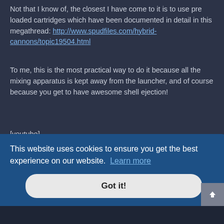Not that I know of, the closest I have come to it is to use pre loaded cartridges which have been documented in detail in this megathread: http://www.spudfiles.com/hybrid-cannons/topic19504.html
To me, this is the most practical way to do it because all the mixing apparatus is kept away from the launcher, and of course because you get to have awesome shell ejection!
[youtube]
[Figure (screenshot): YouTube video thumbnail showing 'fuel air spud gun cartridge shell ...' with a cartoon avatar icon and a gun barrel image with red play button]
This website uses cookies to ensure you get the best experience on our website. Learn more
Got it!